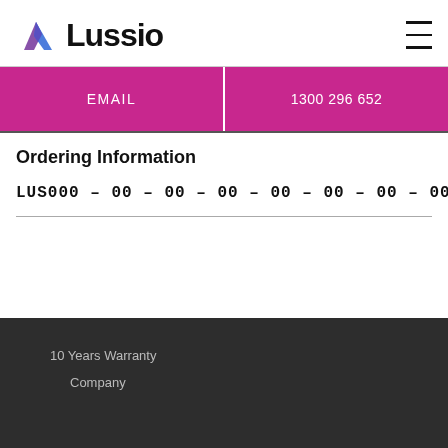[Figure (logo): Lussio logo with geometric diamond/chevron icon in purple and blue, followed by bold text 'Lussio']
EMAIL
1300 296 652
Ordering Information
LUS000 – 00 – 00 – 00 – 00 – 00 – 00 – 00
10 Years Warranty
Company